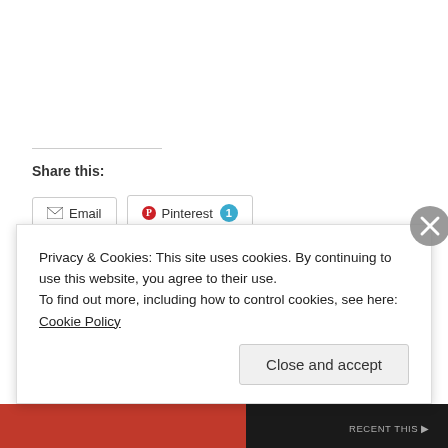Share this:
Email
Pinterest 1
Loading...
Privacy & Cookies: This site uses cookies. By continuing to use this website, you agree to their use. To find out more, including how to control cookies, see here: Cookie Policy
Close and accept